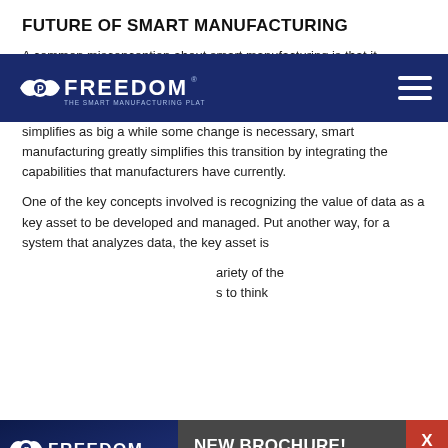FUTURE OF SMART MANUFACTURING
A common misconception about smart manufacturing is that it simplifies as big a while some change is necessary smart manufacturing greatly simplifies this transition by integrating the capabilities that manufacturers have currently.
[Figure (logo): Freedom manufacturing platform logo on dark navy navigation bar with hamburger menu icon]
One of the key concepts involved is recognizing the value of data as a key asset to be developed and managed. Put another way, for a system that analyzes data, the key asset is data. variety of the s to think
[Figure (infographic): Popup modal with Freedom brochure ad: Freedom logo image on left, 'NEW BROCHURE!' heading, 'Download Now To Get More From Your Shop Floor' text, yellow 'Download Now' button, red X close button]
resource of as a single as a wide- the stication of the sensors. There are many highly beneficial applications that can draw upon data.
Infrastructure changes needed to accommodate the